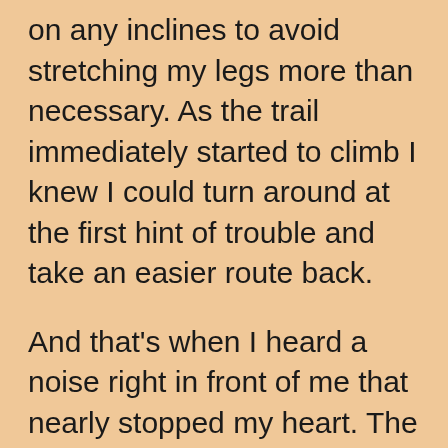on any inclines to avoid stretching my legs more than necessary. As the trail immediately started to climb I knew I could turn around at the first hint of trouble and take an easier route back.
And that's when I heard a noise right in front of me that nearly stopped my heart. The rattler was right beside the trail, coiled with its head up and mouth open, rattle shaking. I backed off immediately and it relaxed, slowly moving a few feet over and hiding under a dead tree. As you can see from the first picture while not in a full striking position its head was still up and